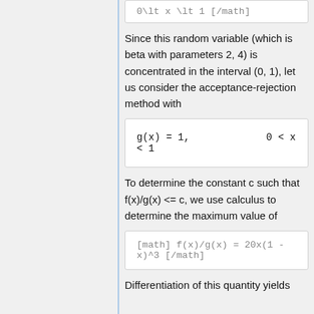Since this random variable (which is beta with parameters 2, 4) is concentrated in the interval (0, 1), let us consider the acceptance-rejection method with
To determine the constant c such that f(x)/g(x) <= c, we use calculus to determine the maximum value of
Differentiation of this quantity yields